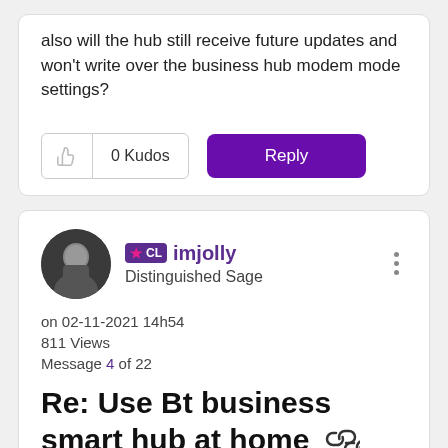also will the hub still receive future updates and won't write over the business hub modem mode settings?
0 Kudos
Reply
imjolly
Distinguished Sage
on 02-11-2021 14h54
811 Views
Message 4 of 22
Re: Use Bt business smart hub at home